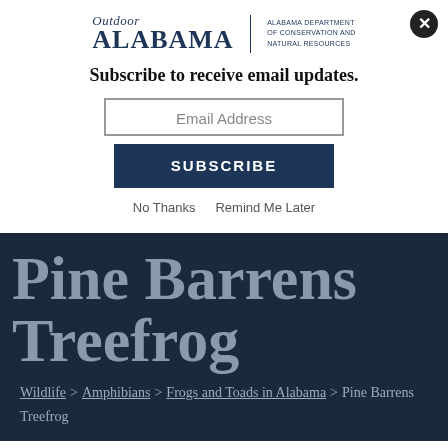[Figure (logo): Outdoor Alabama logo — Alabama Department of Conservation and Natural Resources]
Subscribe to receive email updates.
Email Address
SUBSCRIBE
No Thanks   Remind Me Later
Pine Barrens Treefrog
Wildlife > Amphibians > Frogs and Toads in Alabama > Pine Barrens Treefrog